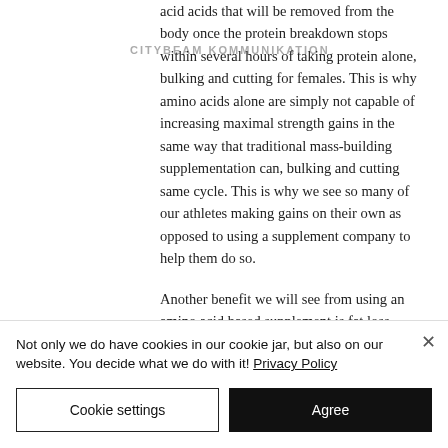CITYBEAM KOMMUNIKATION
acid acids that will be removed from the body once the protein breakdown stops within several hours of taking protein alone, bulking and cutting for females. This is why amino acids alone are simply not capable of increasing maximal strength gains in the same way that traditional mass-building supplementation can, bulking and cutting same cycle. This is why we see so many of our athletes making gains on their own as opposed to using a supplement company to help them do so.

Another benefit we will see from using an amino acid based supplement is fat loss.
Not only we do have cookies in our cookie jar, but also on our website. You decide what we do with it! Privacy Policy
Cookie settings
Agree